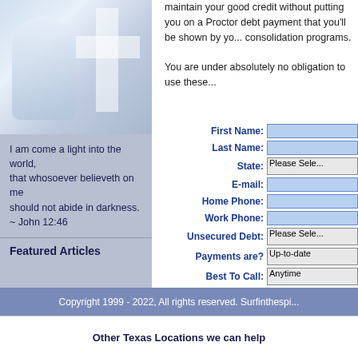[Figure (photo): Photo of a person with arms raised, with a cross visible in the background, over a light blue background]
I am come a light into the world, that whosoever believeth on me should not abide in darkness.
~ John 12:46
Featured Articles
maintain your good credit without putting you on a Proctor debt payment that you'll be shown by yo... consolidation programs.
You are under absolutely no obligation to use these...
| Field | Input |
| --- | --- |
| First Name: |  |
| Last Name: |  |
| State: | Please Sele... |
| E-mail: |  |
| Home Phone: |  |
| Work Phone: |  |
| Unsecured Debt: | Please Sele... |
| Payments are? | Up-to-date |
| Best To Call: | Anytime |
|  | Submit Appl... |
Copyright 1999 - 2022, All rights reserved. Surfinthespi...
Other Texas Locations we can help